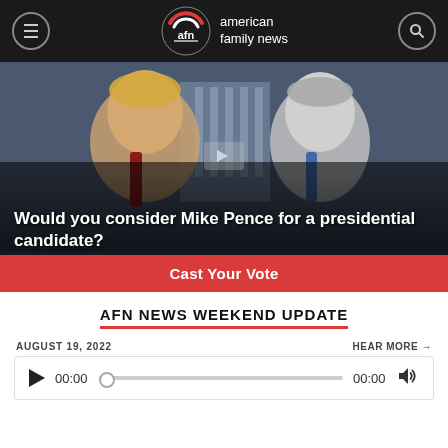american family news
[Figure (photo): Photo of Donald Trump and Mike Pence at a podium, White House in background, with red 'Cast Your Vote' button overlay. Overlaid text: 'Would you consider Mike Pence for a presidential candidate?']
AFN NEWS WEEKEND UPDATE
AUGUST 19, 2022
HEAR MORE →
[Figure (other): Audio player with play button, 00:00 timestamp, progress bar, 00:00 end time, and volume icon]